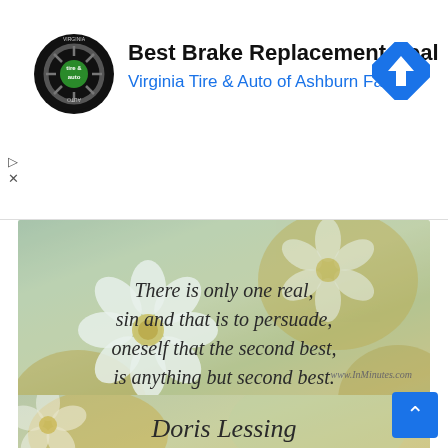[Figure (illustration): Advertisement banner for Virginia Tire & Auto of Ashburn Farms showing a circular tire and auto logo, bold text 'Best Brake Replacement Deal', subtitle 'Virginia Tire & Auto of Ashburn Farms' in blue, and a blue diamond road sign icon on the right. Ad controls (play and close) visible on the left. White background.]
[Figure (photo): Inspirational quote image over a floral background showing white and yellow flowers (daisies). Quote in dark italic serif font reads: 'There is only one real, sin and that is to persuade, oneself that the second best, is anything but second best.' Watermark 'www.InMinutes.com' visible. Author name 'Doris Lessing' partially visible at the bottom in large italic serif font.]